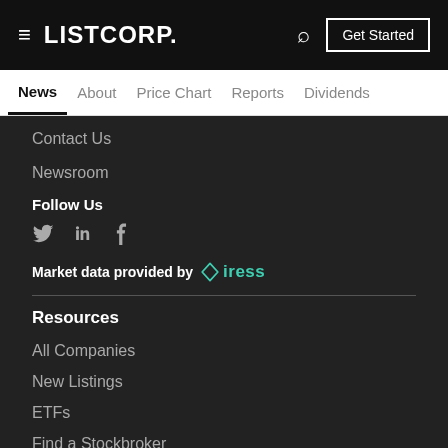LISTCORP. | News | About | Price Chart | Reports | Dividends | Get Started
Contact Us
Newsroom
Follow Us
Social icons: Twitter, LinkedIn, Facebook
Market data provided by iress
Resources
All Companies
New Listings
ETFs
Find a Stockbroker